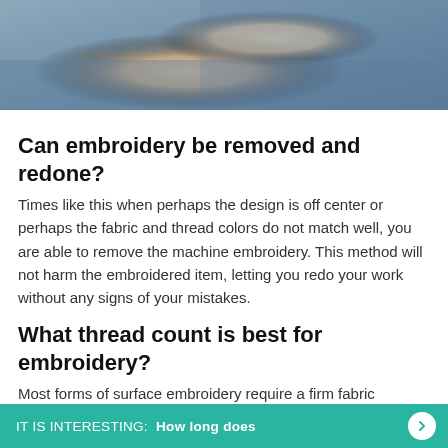[Figure (photo): Close-up photo of hands working on blue fabric, likely embroidery or sewing]
Can embroidery be removed and redone?
Times like this when perhaps the design is off center or perhaps the fabric and thread colors do not match well, you are able to remove the machine embroidery. This method will not harm the embroidered item, letting you redo your work without any signs of your mistakes.
What thread count is best for embroidery?
Most forms of surface embroidery require a firm fabric foundation, often with a thread count of 28 or higher. Using an embroidery fabric with a lower thread count can result in poorly-formed stitches, although you can add stabilizer to create a better surface.
IT IS INTERESTING:  How long does